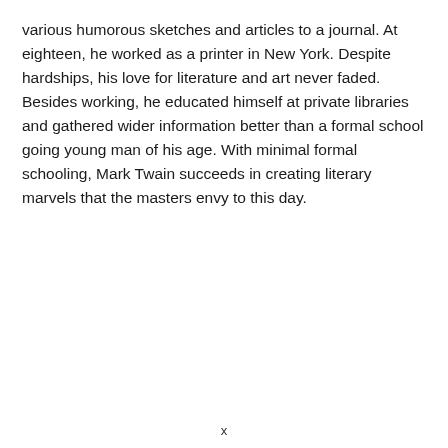various humorous sketches and articles to a journal. At eighteen, he worked as a printer in New York. Despite hardships, his love for literature and art never faded. Besides working, he educated himself at private libraries and gathered wider information better than a formal school going young man of his age. With minimal formal schooling, Mark Twain succeeds in creating literary marvels that the masters envy to this day.
x